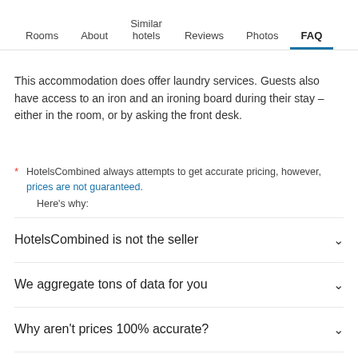Rooms | About | Similar hotels | Reviews | Photos | FAQ
This accommodation does offer laundry services. Guests also have access to an iron and an ironing board during their stay – either in the room, or by asking the front desk.
* HotelsCombined always attempts to get accurate pricing, however, prices are not guaranteed.
Here's why:
HotelsCombined is not the seller
We aggregate tons of data for you
Why aren't prices 100% accurate?